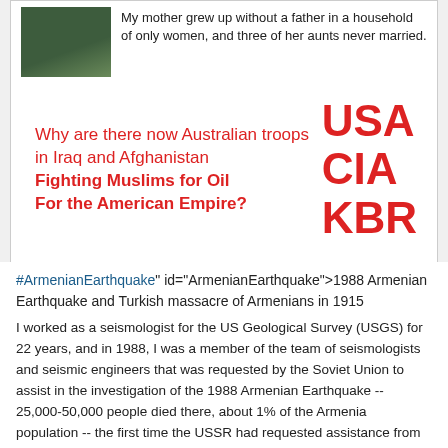[Figure (photo): Partial photo of a person, dark green tones, cropped]
My mother grew up without a father in a household of only women, and three of her aunts never married.
Why are there now Australian troops in Iraq and Afghanistan Fighting Muslims for Oil For the American Empire? USA CIA KBR
#ArmenianEarthquake" id="ArmenianEarthquake">1988 Armenian Earthquake and Turkish massacre of Armenians in 1915
I worked as a seismologist for the US Geological Survey (USGS) for 22 years, and in 1988, I was a member of the team of seismologists and seismic engineers that was requested by the Soviet Union to assist in the investigation of the 1988 Armenian Earthquake -- 25,000-50,000 people died there, about 1% of the Armenia population -- the first time the USSR had requested assistance from the US government since WWII. At the time there was a conflict going on between the Soviet republic of Christian